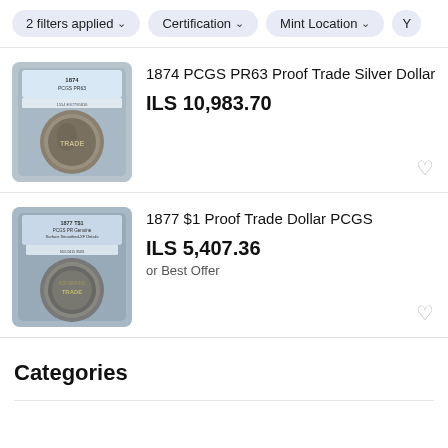2 filters applied   Certification   Mint Location   Y
[Figure (photo): PCGS slab containing 1874 Proof Trade Silver Dollar coin]
1874 PCGS PR63 Proof Trade Silver Dollar
ILS 10,983.70
[Figure (photo): PCGS slab containing 1877 Proof Trade Dollar coin (reverse side)]
1877 $1 Proof Trade Dollar PCGS
ILS 5,407.36
or Best Offer
Categories